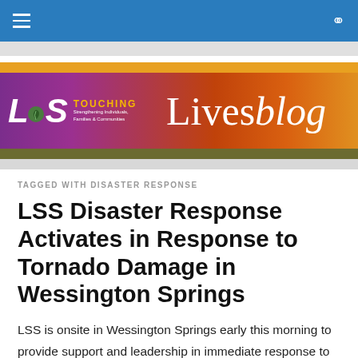Navigation bar with hamburger menu and search icon
[Figure (logo): LSS Touching Lives Blog banner with gradient background (purple to orange), LSS logo with leaf icon, tagline 'Strengthening Individuals, Families & Communities', and 'TOUCHING Lives blog' text]
TAGGED WITH DISASTER RESPONSE
LSS Disaster Response Activates in Response to Tornado Damage in Wessington Springs
LSS is onsite in Wessington Springs early this morning to provide support and leadership in immediate response to the recent tornado. LSS will be establishing a Volunteer